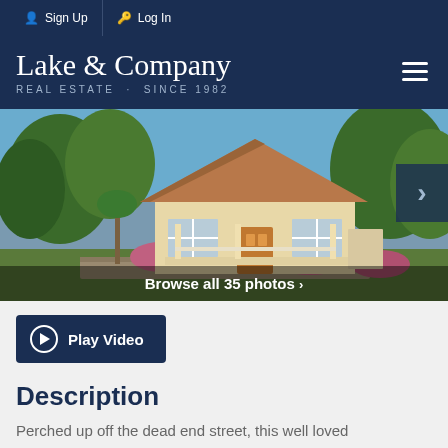Sign Up | Log In
Lake & Company
REAL ESTATE · SINCE 1982
[Figure (photo): Exterior photo of a craftsman bungalow house with cedar shingle roof, white porch railing, wood front door, surrounded by trees and flowering shrubs, with a stone wall in front.]
Browse all 35 photos ›
Play Video
Description
Perched up off the dead end street, this well loved